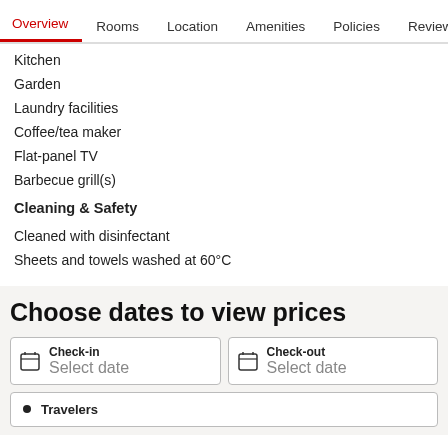Overview  Rooms  Location  Amenities  Policies  Reviews
Kitchen
Garden
Laundry facilities
Coffee/tea maker
Flat-panel TV
Barbecue grill(s)
Cleaning & Safety
Cleaned with disinfectant
Sheets and towels washed at 60°C
Choose dates to view prices
Check-in
Select date
Check-out
Select date
Travelers